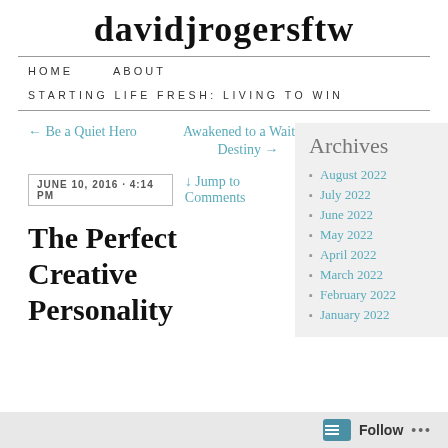davidjrogersftw
HOME   ABOUT
STARTING LIFE FRESH: LIVING TO WIN
← Be a Quiet Hero
Awakened to a Waiting Destiny →
JUNE 10, 2016 · 4:14 PM
↓ Jump to Comments
The Perfect Creative Personality
Archives
August 2022
July 2022
June 2022
May 2022
April 2022
March 2022
February 2022
January 2022
Follow ...